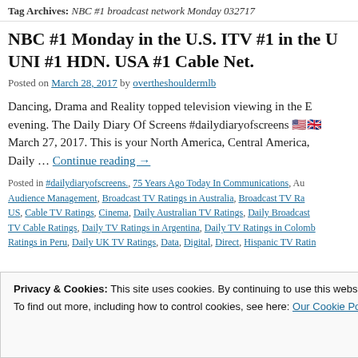Tag Archives: NBC #1 broadcast network Monday 032717
NBC #1 Monday in the U.S. ITV #1 in the U UNI #1 HDN. USA #1 Cable Net.
Posted on March 28, 2017 by overtheshouldermlb
Dancing, Drama and Reality topped television viewing in the E evening. The Daily Diary Of Screens #dailydiaryofscreens 🇺🇸🇬🇧 March 27, 2017. This is your North America, Central America, Daily … Continue reading →
Posted in #dailydiaryofscreens., 75 Years Ago Today In Communications, Au Audience Management, Broadcast TV Ratings in Australia, Broadcast TV Ra US, Cable TV Ratings, Cinema, Daily Australian TV Ratings, Daily Broadcast TV Cable Ratings, Daily TV Ratings in Argentina, Daily TV Ratings in Colomb Ratings in Peru, Daily UK TV Ratings, Data, Digital, Direct, Hispanic TV Ratin
Privacy & Cookies: This site uses cookies. By continuing to use this website, you agree to their use. To find out more, including how to control cookies, see here: Our Cookie Policy